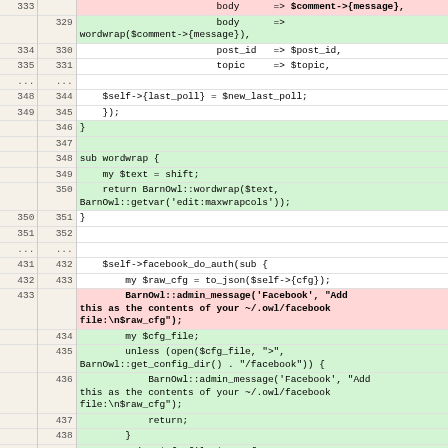| old | new | code |
| --- | --- | --- |
| 333 |  | body      => $comment->{message}, |
|  | 329 | body      =>
wordwrap($comment->{message}), |
| 334 | 330 |                         post_id   => $post_id, |
| 335 | 331 |                         topic     => $topic, |
| ... | ... |  |
| 348 | 344 |     $self->{last_poll} = $new_last_poll; |
| 349 | 345 |     }); |
|  | 346 | } |
|  | 347 |  |
|  | 348 | sub wordwrap { |
|  | 349 |     my $text = shift; |
|  | 350 |     return BarnOwl::wordwrap($text,
BarnOwl::getvar('edit:maxwrapcols')); |
| 350 | 351 | } |
| 351 | 352 |  |
| ... | ... |  |
| 431 | 432 |     $self->facebook_do_auth(sub { |
| 432 | 433 |         my $raw_cfg = to_json($self->{cfg}); |
| 433 |  |         BarnOwl::admin_message('Facebook', "Add
this as the contents of your ~/.owl/facebook
file:\n$raw_cfg"); |
|  | 434 |         my $cfg_file; |
|  | 435 |         unless (open($cfg_file, ">",
BarnOwl::get_config_dir() . "/facebook")) { |
|  | 436 |             BarnOwl::admin_message('Facebook', "Add
this as the contents of your ~/.owl/facebook
file:\n$raw_cfg"); |
|  | 437 |             return; |
|  | 438 |         } |
|  | 439 |         print $cfg_file $raw_cfg; |
|  | 440 |         close $cfg_file; |